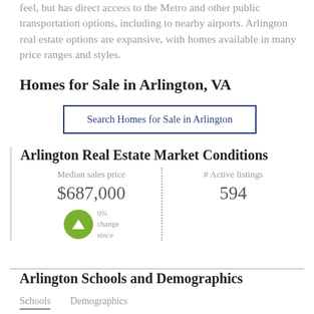feel, but has direct access to the Metro and other public transportation options, including to nearby airports. Arlington real estate options are expansive, with homes available in many price ranges and styles.
Homes for Sale in Arlington, VA
Search Homes for Sale in Arlington
Arlington Real Estate Market Conditions
| Median sales price | # Active listings |
| --- | --- |
| $687,000 | 594 |
0% change since
Arlington Schools and Demographics
Schools	Demographics